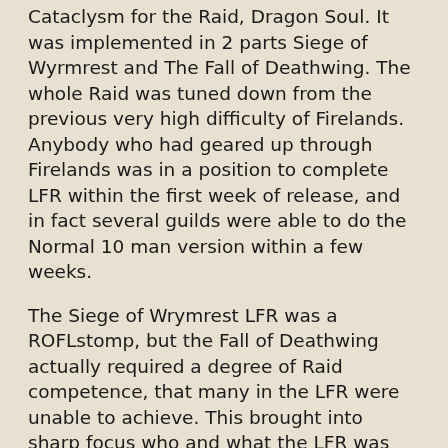Cataclysm for the Raid, Dragon Soul. It was implemented in 2 parts Siege of Wyrmrest and The Fall of Deathwing. The whole Raid was tuned down from the previous very high difficulty of Firelands. Anybody who had geared up through Firelands was in a position to complete LFR within the first week of release, and in fact several guilds were able to do the Normal 10 man version within a few weeks.
The Siege of Wrymrest LFR was a ROFLstomp, but the Fall of Deathwing actually required a degree of Raid competence, that many in the LFR were unable to achieve. This brought into sharp focus who and what the LFR was designed for. Blizzard, always maintained that the primary focus was to allow everybody to witness and partake in the End Game content whilst it was still current. Previously a large amount of developers time was taken up by content that only 5% of the player base would see, and in the spirit of a more inclusive game the LFR was introduced.
The first incarnation was marked by Loot drama, Off spec needing, Guild controlling loot, Robin Hood style loot distribution (given to the most deserving) and on Spine of